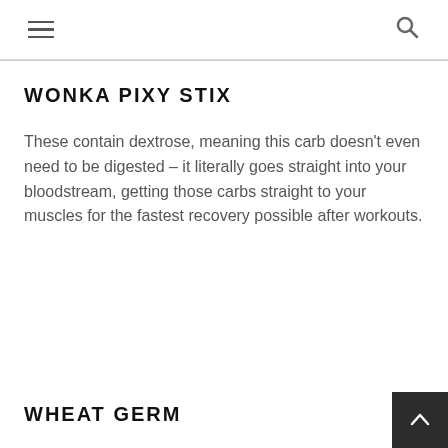Navigation header with hamburger menu and search icon
WONKA PIXY STIX
These contain dextrose, meaning this carb doesn't even need to be digested – it literally goes straight into your bloodstream, getting those carbs straight to your muscles for the fastest recovery possible after workouts.
WHEAT GERM